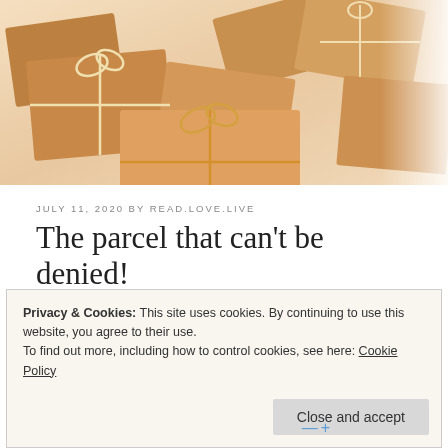[Figure (photo): Pile of brown paper wrapped parcels tied with string/twine, photographed from above on a light background]
JULY 11, 2020 BY READ.LOVE.LIVE
The parcel that can't be denied!
Privacy & Cookies: This site uses cookies. By continuing to use this website, you agree to their use.
To find out more, including how to control cookies, see here: Cookie Policy
Close and accept